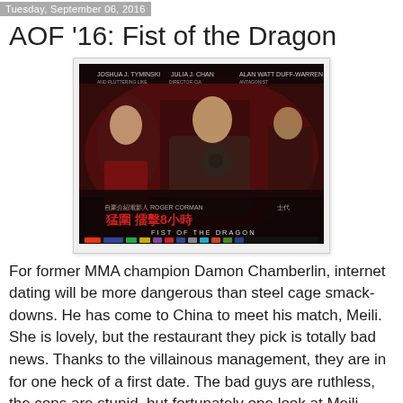Tuesday, September 06, 2016
AOF '16: Fist of the Dragon
[Figure (photo): Movie poster for 'Fist of the Dragon' showing a man pointing a gun toward the viewer, a woman behind him, dramatic dark red background with Chinese characters and text 'FIST OF THE DRAGON', produced by Roger Corman]
For former MMA champion Damon Chamberlin, internet dating will be more dangerous than steel cage smack-downs. He has come to China to meet his match, Meili. She is lovely, but the restaurant they pick is totally bad news. Thanks to the villainous management, they are in for one heck of a first date. The bad guys are ruthless, the cops are stupid, but fortunately one look at Meili gives Chamberlin a heck of a lot of motivation in Antony Szeto's Fist of the Dragon (trailer here), produced by the legendary Roger